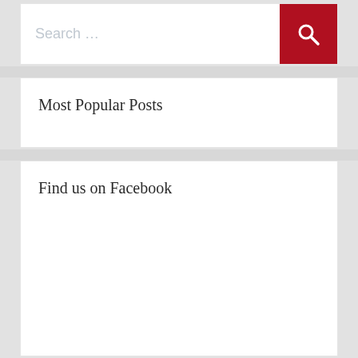Search …
Most Popular Posts
Find us on Facebook